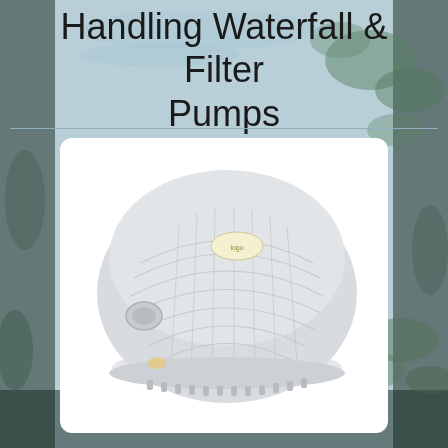Handling Waterfall & Filter Pumps
[Figure (photo): A round/oval pond pump or filter pump unit with ribbed/grated housing, shown in a light whitish-grey color on a white card background.]